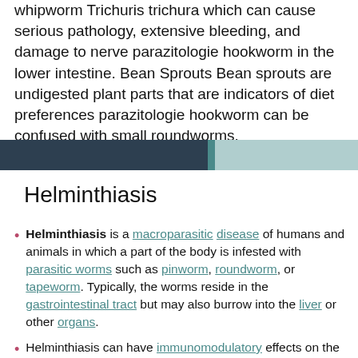whipworm Trichuris trichura which can cause serious pathology, extensive bleeding, and damage to nerve parazitologie hookworm in the lower intestine. Bean Sprouts Bean sprouts are undigested plant parts that are indicators of diet preferences parazitologie hookworm can be confused with small roundworms.
[Figure (other): Decorative horizontal banner bar with dark navy blue on the left, teal in the middle, and light blue-grey on the right.]
Helminthiasis
Helminthiasis is a macroparasitic disease of humans and animals in which a part of the body is infested with parasitic worms such as pinworm, roundworm, or tapeworm. Typically, the worms reside in the gastrointestinal tract but may also burrow into the liver or other organs.
Helminthiasis can have immunomodulatory effects on the host,[1] with implications for any coinfecting pathogens.